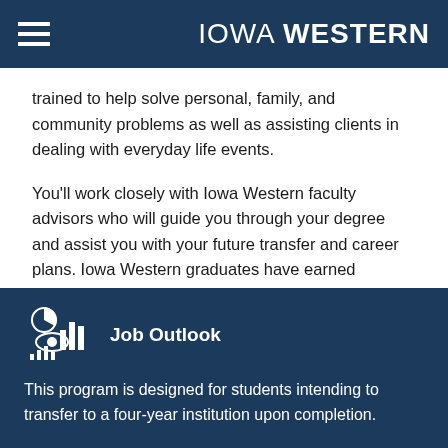IOWA WESTERN
trained to help solve personal, family, and community problems as well as assisting clients in dealing with everyday life events.
You'll work closely with Iowa Western faculty advisors who will guide you through your degree and assist you with your future transfer and career plans. Iowa Western graduates have earned positions in schools, hospitals, mental health clinics, psychiatric hospitals, and public agencies.
Job Outlook
This program is designed for students intending to transfer to a four-year institution upon completion.